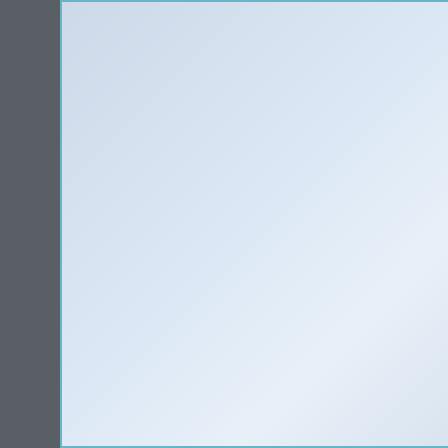283
McLaren
Sub
Additional Services Offered
Addiction Treatment P
4448
McLare
Additional Services Offered
Addiction Treatment P